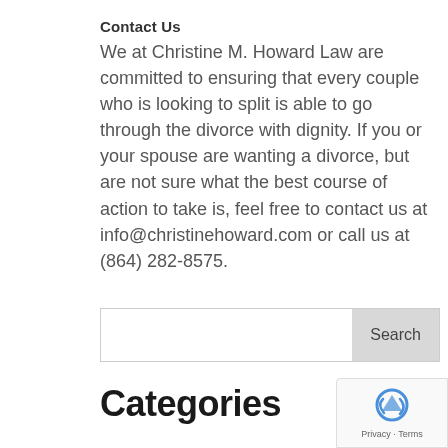Contact Us
We at Christine M. Howard Law are committed to ensuring that every couple who is looking to split is able to go through the divorce with dignity. If you or your spouse are wanting a divorce, but are not sure what the best course of action to take is, feel free to contact us at info@christinehoward.com or call us at (864) 282-8575.
[Figure (other): Search input field with Search button]
Categories
[Figure (logo): reCAPTCHA badge with privacy and terms link]